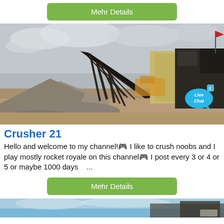Mehr Details
[Figure (photo): Industrial stone crushing conveyor belt machinery at a quarry/mining site with gravel piles, overcast sky, and a Live Chat speech bubble overlay in the bottom right corner.]
Crusher 21
Hello and welcome to my channel!🎮 I like to crush noobs and I play mostly rocket royale on this channel🎮 I post every 3 or 4 or 5 or maybe 1000 days   ...
Mehr Details
[Figure (photo): Bottom strip of another photo showing blue sky and what appears to be machinery or a vehicle.]